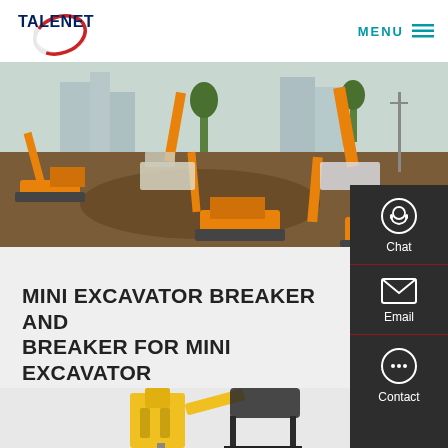TALENET | MENU
[Figure (photo): Construction site with multiple orange excavators digging earth, city buildings visible in background]
[Figure (infographic): Right sidebar with Chat, Email, and Contact icons on dark background]
MINI EXCAVATOR BREAKER AND BREAKER FOR MINI EXCAVATOR
[Figure (photo): Yellow mini excavator breaker attachment partially visible at bottom of page]